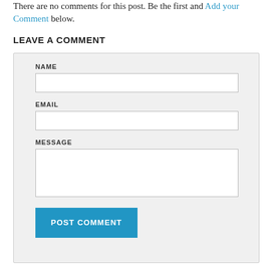There are no comments for this post. Be the first and Add your Comment below.
LEAVE A COMMENT
[Figure (screenshot): A comment form with fields for NAME, EMAIL, MESSAGE, and a POST COMMENT button, displayed on a light gray background panel.]